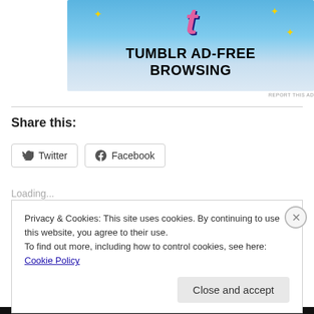[Figure (advertisement): Tumblr Ad-Free Browsing advertisement banner with Tumblr 't' logo on blue sky background and text 'TUMBLR AD-FREE BROWSING']
REPORT THIS AD
Share this:
Twitter  Facebook
Loading...
Privacy & Cookies: This site uses cookies. By continuing to use this website, you agree to their use.
To find out more, including how to control cookies, see here: Cookie Policy
Close and accept